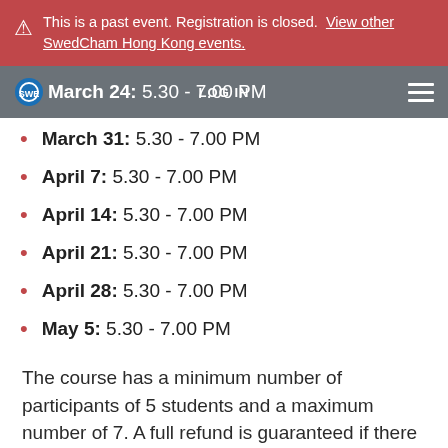This is a past event. Registration is closed. View other SwedCham Hong Kong events.
March 24: 5.30 - 7.00 PM | LOG IN
March 31: 5.30 - 7.00 PM
April 7: 5.30 - 7.00 PM
April 14: 5.30 - 7.00 PM
April 21: 5.30 - 7.00 PM
April 28: 5.30 - 7.00 PM
May 5: 5.30 - 7.00 PM
The course has a minimum number of participants of 5 students and a maximum number of 7. A full refund is guaranteed if there are less than 5 signing up.